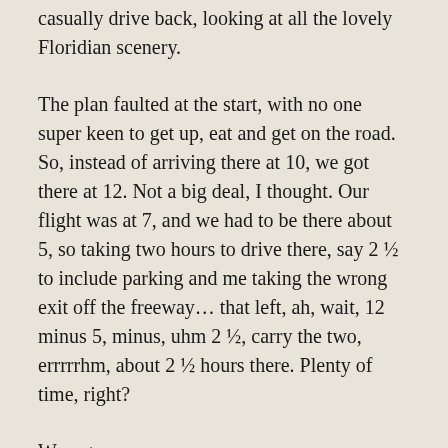casually drive back, looking at all the lovely Floridian scenery.
The plan faulted at the start, with no one super keen to get up, eat and get on the road. So, instead of arriving there at 10, we got there at 12. Not a big deal, I thought. Our flight was at 7, and we had to be there about 5, so taking two hours to drive there, say 2 ½ to include parking and me taking the wrong exit off the freeway… that left, ah, wait, 12 minus 5, minus, uhm 2 ½, carry the two, errrrrhm, about 2 ½ hours there. Plenty of time, right?
Wrong.
But that time crunch was only a part of what broke The-Prettiest-Girl-in-the-World. That stress of having to do stuff quickly was bad enough, but all of the waiting in line had to be outside in the scorching heat of the Florida